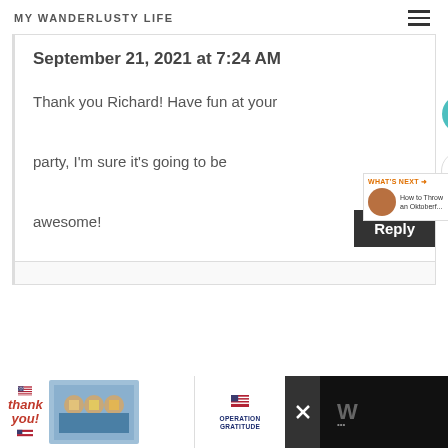MY WANDERLUSTY LIFE
September 21, 2021 at 7:24 AM
Thank you Richard! Have fun at your party, I'm sure it's going to be awesome!
[Figure (screenshot): Advertisement banner at bottom: Operation Gratitude thank you ad with photo of medical workers]
[Figure (screenshot): What's Next bar: How to Throw an Oktoberf...]